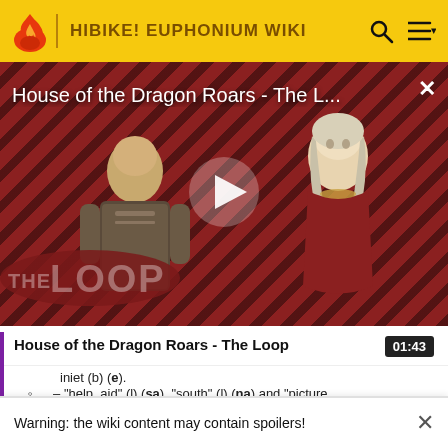HIBIKE! EUPHONIUM WIKI
[Figure (screenshot): Video thumbnail for 'House of the Dragon Roars - The Loop' showing two characters against a diagonal red-and-black stripe pattern background with 'THE LOOP' text overlay and a play button in the center.]
House of the Dragon Roars - The Loop 01:43
iniet (b) (e).
– "help, aid" (l) (sa), "south" (l) (na) and "picture.
Warning: the wiki content may contain spoilers!